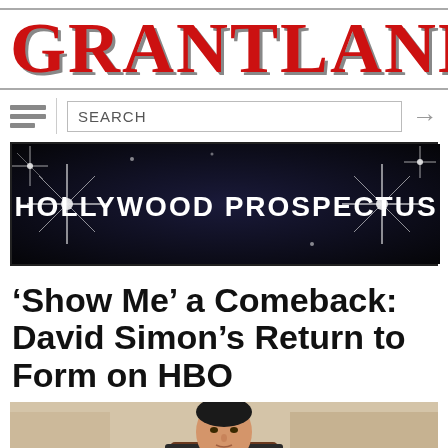GRANTLAND
[Figure (screenshot): Search bar row with hamburger menu icon, vertical separator, search input box with text SEARCH, and right arrow button]
[Figure (illustration): Hollywood Prospectus banner with dark background, star burst lights, bold white text reading HOLLYWOOD PROSPECTUS]
'Show Me' a Comeback: David Simon's Return to Form on HBO
[Figure (photo): A man in a suit sitting in a chair in an office setting, partially cropped at bottom]